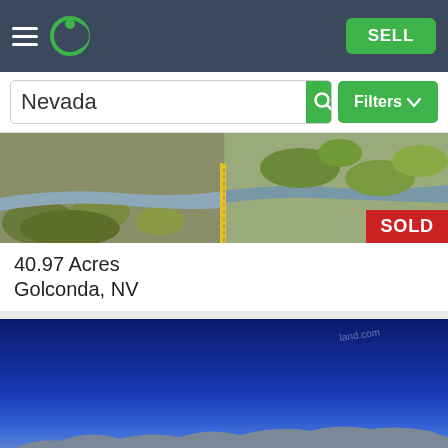[Figure (screenshot): Navigation bar with hamburger menu, green crescent logo, and SELL button on dark blue-grey background]
[Figure (screenshot): Search bar with Nevada text input, green search button, and green Filters dropdown button]
[Figure (photo): Aerial/ground photo of Nevada land listing showing dry brush landscape with yellow stake marker, with red SOLD badge in bottom right]
40.97 Acres
Golconda, NV
[Figure (photo): Wide angle photo of Nevada desert landscape showing deep blue sky above flat sandy terrain with distant mountains, with MAP button overlay]